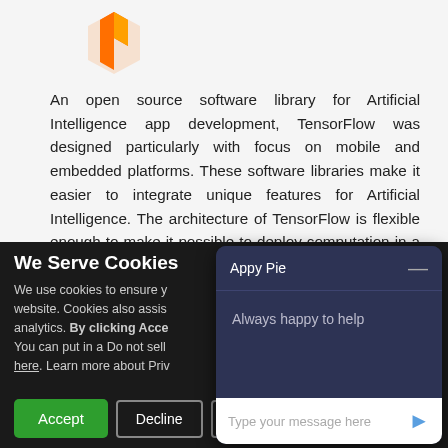[Figure (logo): TensorFlow logo - orange and yellow flame/shield icon]
An open source software library for Artificial Intelligence app development, TensorFlow was designed particularly with focus on mobile and embedded platforms. These software libraries make it easier to integrate unique features for Artificial Intelligence. The architecture of TensorFlow is flexible enough to make it possible to deploy computation in a desktop, server, or
[Figure (screenshot): Cookie consent overlay with dark background showing 'We Serve Cookies' heading, cookie policy text, Accept/Decline/Manage buttons, and an Appy Pie chat widget with 'Always happy to help' message and message input field]